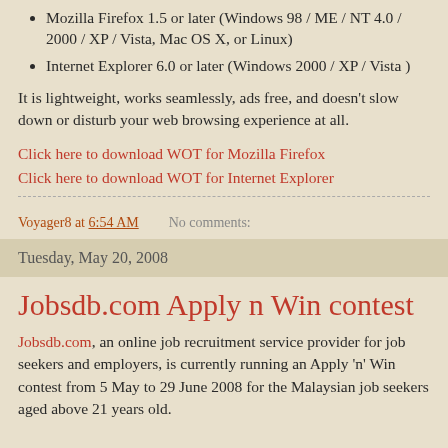Mozilla Firefox 1.5 or later (Windows 98 / ME / NT 4.0 / 2000 / XP / Vista, Mac OS X, or Linux)
Internet Explorer 6.0 or later (Windows 2000 / XP / Vista )
It is lightweight, works seamlessly, ads free, and doesn't slow down or disturb your web browsing experience at all.
Click here to download WOT for Mozilla Firefox
Click here to download WOT for Internet Explorer
Voyager8 at 6:54 AM    No comments:
Tuesday, May 20, 2008
Jobsdb.com Apply n Win contest
Jobsdb.com, an online job recruitment service provider for job seekers and employers, is currently running an Apply 'n' Win contest from 5 May to 29 June 2008 for the Malaysian job seekers aged above 21 years old.